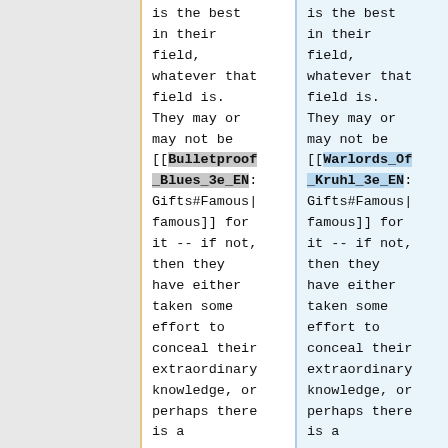is the best in their field, whatever that field is. They may or may not be [[Bulletproof_Blues_3e_EN: Gifts#Famous|famous]] for it -- if not, then they have either taken some effort to conceal their extraordinary knowledge, or perhaps there is a
is the best in their field, whatever that field is. They may or may not be [[Warlords_Of_Kruhl_3e_EN: Gifts#Famous|famous]] for it -- if not, then they have either taken some effort to conceal their extraordinary knowledge, or perhaps there is a